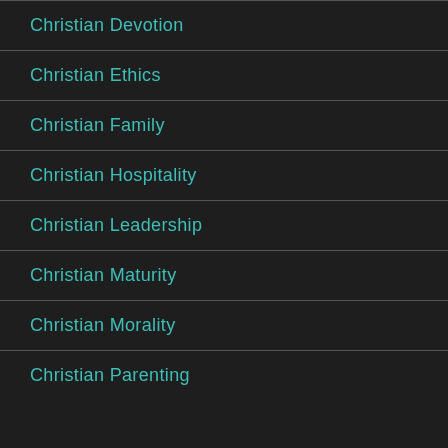Christian Devotion
Christian Ethics
Christian Family
Christian Hospitality
Christian Leadership
Christian Maturity
Christian Morality
Christian Parenting